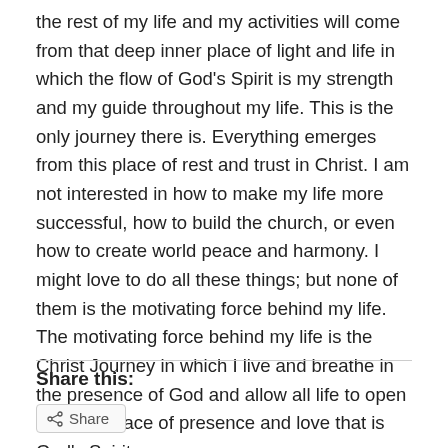the rest of my life and my activities will come from that deep inner place of light and life in which the flow of God’s Spirit is my strength and my guide throughout my life. This is the only journey there is. Everything emerges from this place of rest and trust in Christ. I am not interested in how to make my life more successful, how to build the church, or even how to create world peace and harmony. I might love to do all these things; but none of them is the motivating force behind my life. The motivating force behind my life is the Christ Journey in which I live and breathe in the presence of God and allow all life to open from the place of presence and love that is God’s Spirit.
Share this: